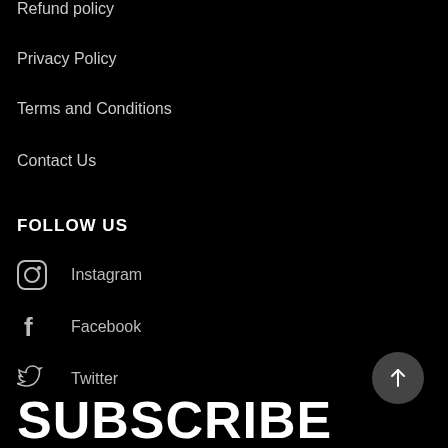Refund policy
Privacy Policy
Terms and Conditions
Contact Us
FOLLOW US
Instagram
Facebook
Twitter
SUBSCRIBE